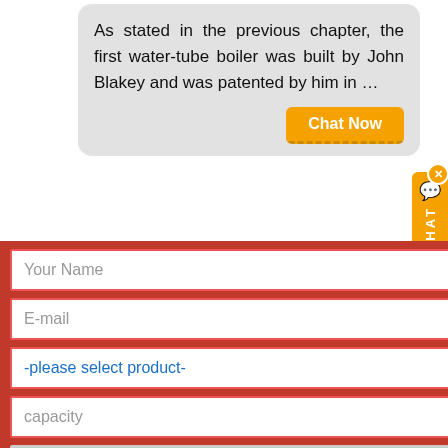As stated in the previous chapter, the first water-tube boiler was built by John Blakey and was patented by him in …
Chat Now
[Figure (photo): Industrial boiler equipment photographed outdoors]
Boiler Plate – Columbia Memorial Space Center
Apollo Boiler Plate 12 an unmanned transonic abort test vehicle. using a Lime Joe II booster as a launch vehicle, successfully completed its s…
Chat Now
Your Name
E-mail
-please select product-
capacity
↓↓↓More information↓↓↓
Submit